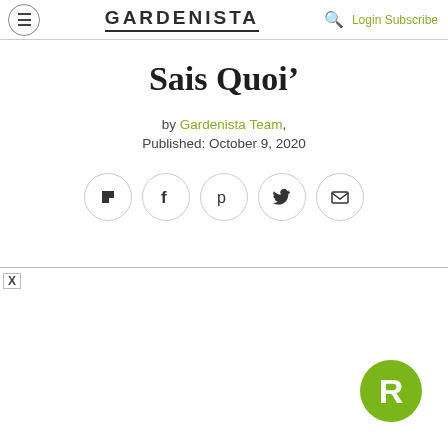GARDENISTA | Login Subscribe
Sais Quoi'
by Gardenista Team, Published: October 9, 2020
[Figure (other): Social sharing icons row: Flipboard, Facebook, Pinterest, Twitter, Email — each in a circular outline button]
[Figure (logo): Green circular badge with white letter R]